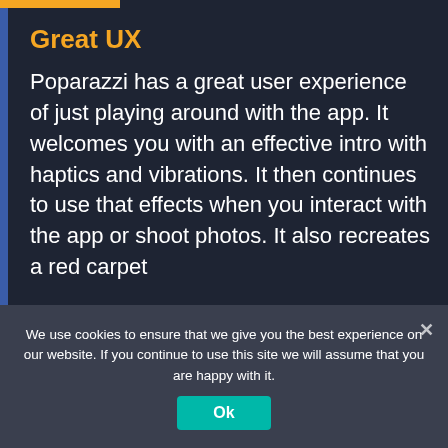Great UX
Poparazzi has a great user experience of just playing around with the app. It welcomes you with an effective intro with haptics and vibrations. It then continues to use that effects when you interact with the app or shoot photos. It also recreates a red carpet
We use cookies to ensure that we give you the best experience on our website. If you continue to use this site we will assume that you are happy with it.